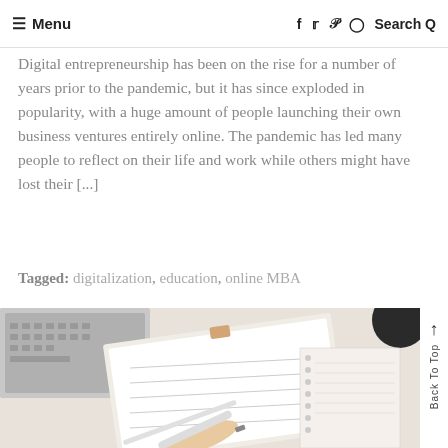≡ Menu   f  t  p  ⊙  Search Q
Digital entrepreneurship has been on the rise for a number of years prior to the pandemic, but it has since exploded in popularity, with a huge amount of people launching their own business ventures entirely online. The pandemic has led many people to reflect on their life and work while others might have lost their [...]
Tagged: digitalization, education, online MBA
[Figure (photo): A person's hand holding a pen over a planner/notebook on a desk, with a laptop keyboard visible in the background and a dark circular object in the upper right corner.]